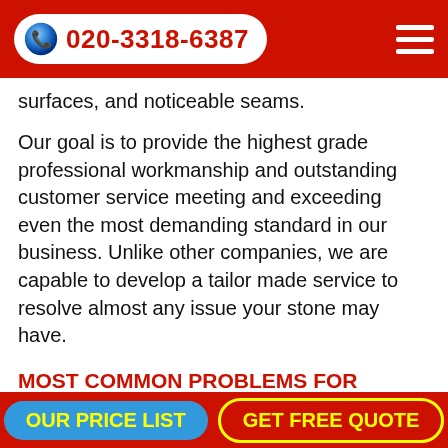020-3318-6387
surfaces, and noticeable seams.
Our goal is to provide the highest grade professional workmanship and outstanding customer service meeting and exceeding even the most demanding standard in our business. Unlike other companies, we are capable to develop a tailor made service to resolve almost any issue your stone may have.
MOST COMMON PROBLEMS FOR WHICH CUSTOMERS CALL US TO SOLVE INCLUDE:
Grimy and Marked Floors
Etched Counter Tops
Deep Stains Removal
OUR PRICE LIST | GET FREE QUOTE